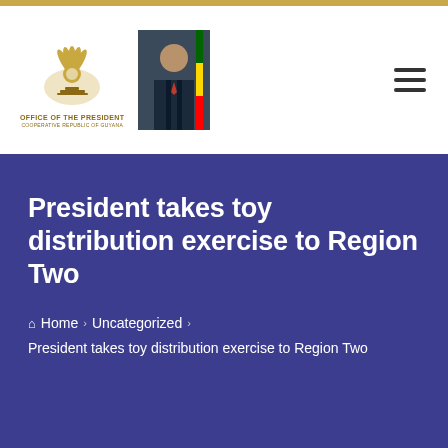Office of the President – Cooperative Republic of Guyana
President takes toy distribution exercise to Region Two
Home › Uncategorized › President takes toy distribution exercise to Region Two